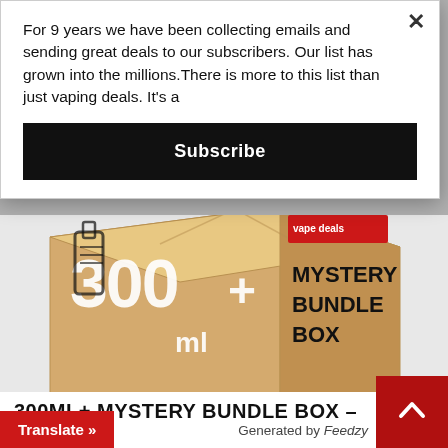For 9 years we have been collecting emails and sending great deals to our subscribers. Our list has grown into the millions.There is more to this list than just vaping deals. It's a
Subscribe
[Figure (photo): A cardboard mystery bundle box with '300+ ml' printed on the left side and 'MYSTERY BUNDLE BOX' on the right side with a vape deals logo at the top.]
300ML+ MYSTERY BUNDLE BOX –
Translate »
Generated by Feedzy